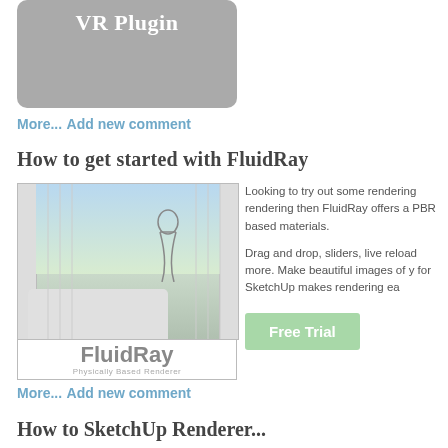[Figure (screenshot): VR Plugin gray rounded rectangle banner with white bold text 'VR Plugin']
More... Add new comment
How to get started with FluidRay
[Figure (screenshot): FluidRay product image showing interior living room scene with curtains, sofa, and figure. Below image shows 'FluidRay Physically Based Renderer' logo in gray text on white background.]
Looking to try out some rendering rendering then FluidRay offers a PBR based materials.
Drag and drop, sliders, live reload more. Make beautiful images of y for SketchUp makes rendering ea
Free Trial
More... Add new comment
How to SketchUp Renderer...